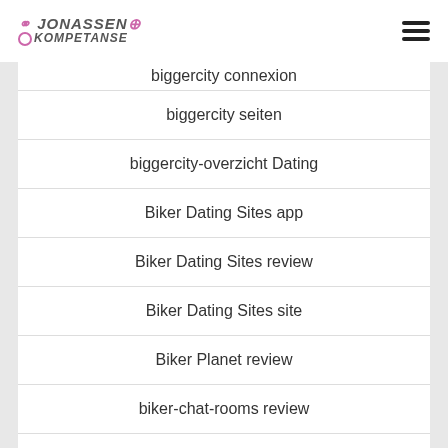Jonassen Kompetanse
biggercity connexion
biggercity seiten
biggercity-overzicht Dating
Biker Dating Sites app
Biker Dating Sites review
Biker Dating Sites site
Biker Planet review
biker-chat-rooms review
bikerplanet gratuit
bikerplanet mobile